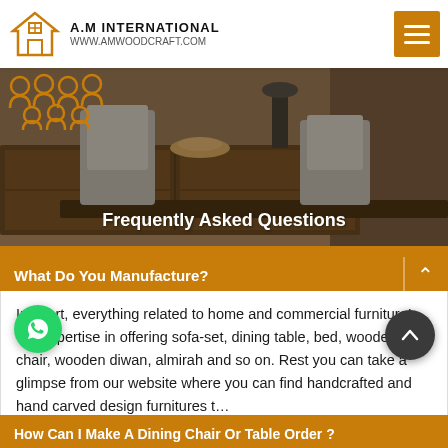A.M INTERNATIONAL www.amwoodcraft.com
[Figure (photo): Background photo of wooden furniture — dining table, chairs, sideboard in a modern interior setting]
[Figure (illustration): Group of people icons in orange/white outline style — team/community graphic]
Frequently Asked Questions
What Do You Manufacture?
In short, everything related to home and commercial furniture! We expertise in offering sofa-set, dining table, bed, wooden chair, wooden diwan, almirah and so on. Rest you can take a glimpse from our website where you can find handcrafted and hand carved design furnitures t…
[Figure (logo): WhatsApp chat button — green circle with WhatsApp icon]
[Figure (other): Scroll-to-top button — dark circle with upward chevron]
Get A Quote
How Can I Make A Dining Chair Or Table Order ?